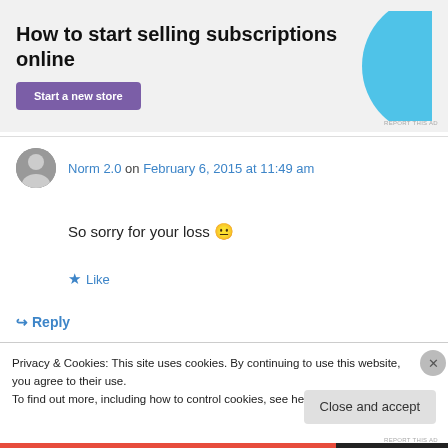[Figure (illustration): Advertisement banner with text 'How to start selling subscriptions online', a purple 'Start a new store' button, and a cyan/light blue abstract graphic shape on the right side. Light gray background.]
REPORT THIS AD
Norm 2.0 on February 6, 2015 at 11:49 am
So sorry for your loss 😐
★ Like
↪ Reply
Privacy & Cookies: This site uses cookies. By continuing to use this website, you agree to their use.
To find out more, including how to control cookies, see here: Cookie Policy
Close and accept